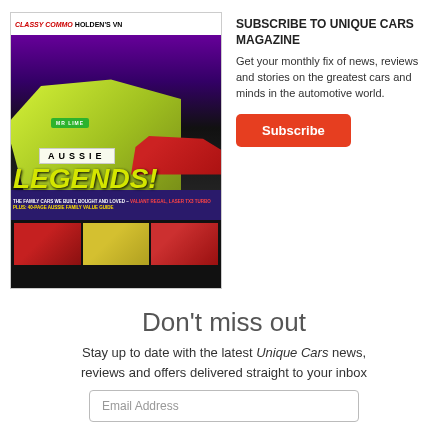[Figure (illustration): Unique Cars magazine cover featuring yellow-green Holden Commodore, text 'CLASSY COMMO HOLDEN'S VN', 'UNIQUE CARS' logo, 'AUSSIE LEGENDS!' headline, and thumbnail images of classic cars at bottom]
SUBSCRIBE TO UNIQUE CARS MAGAZINE
Get your monthly fix of news, reviews and stories on the greatest cars and minds in the automotive world.
Subscribe
Don't miss out
Stay up to date with the latest Unique Cars news, reviews and offers delivered straight to your inbox
Email Address